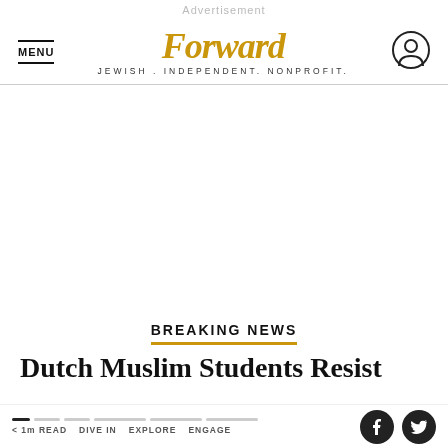Advertisement
Forward - JEWISH. INDEPENDENT. NONPROFIT.
BREAKING NEWS
Dutch Muslim Students Resist